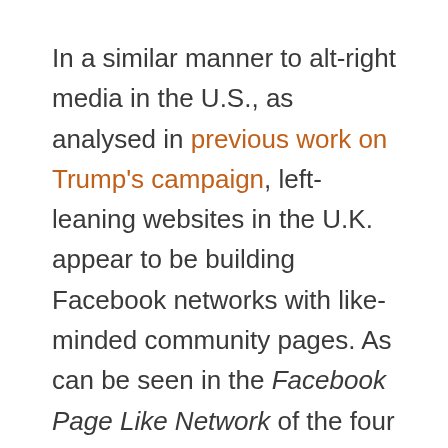In a similar manner to alt-right media in the U.S., as analysed in previous work on Trump's campaign, left-leaning websites in the U.K. appear to be building Facebook networks with like-minded community pages. As can be seen in the Facebook Page Like Network of the four left-leaning pages visualized here below, Another Angry Voice appears as a significant node. While the network is nowhere near as dense as